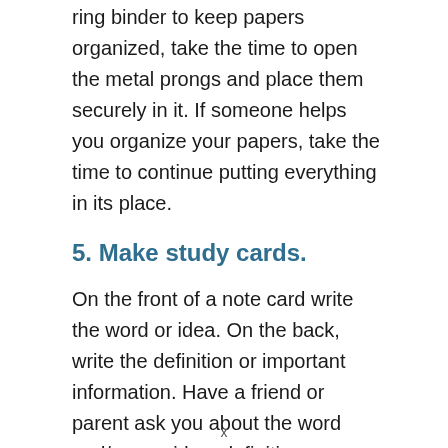ring binder to keep papers organized, take the time to open the metal prongs and place them securely in it. If someone helps you organize your papers, take the time to continue putting everything in its place.
5. Make study cards.
On the front of a note card write the word or idea. On the back, write the definition or important information. Have a friend or parent ask you about the word and/or provide a definition.
x